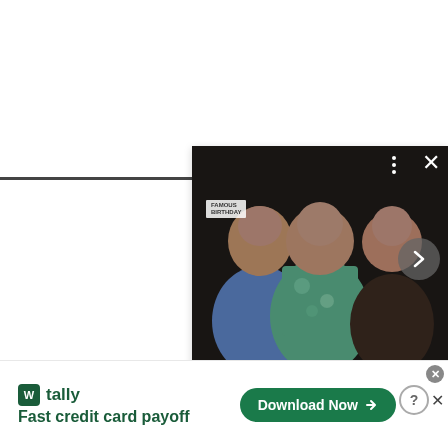[Figure (photo): Photo of three people posing together at an event. Left: woman in blue dress, center: man in floral Hawaiian shirt with gold necklace, right: woman in black leather top. Dark background suggesting an indoor venue.]
Ashanti, Gayle King, Mary J. Blige And Others Make
[Figure (screenshot): Advertisement banner for Tally app. Shows Tally logo (green W icon), tagline 'Fast credit card payoff', and a green 'Download Now' button with arrow. Close and help buttons in top-right corner.]